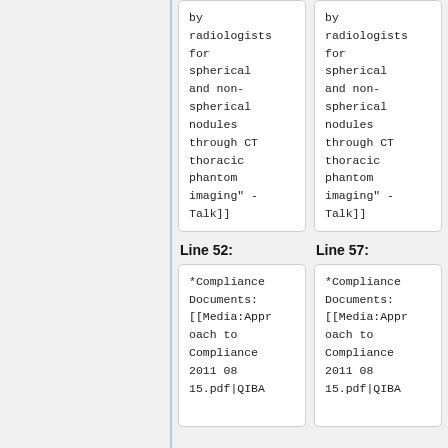by radiologists for spherical and non-spherical nodules through CT thoracic phantom imaging" - Talk]]
by radiologists for spherical and non-spherical nodules through CT thoracic phantom imaging" - Talk]]
Line 52:
Line 57:
*Compliance Documents: [[Media:Approach to Compliance 2011 08 15.pdf|QIBA
*Compliance Documents: [[Media:Approach to Compliance 2011 08 15.pdf|QIBA